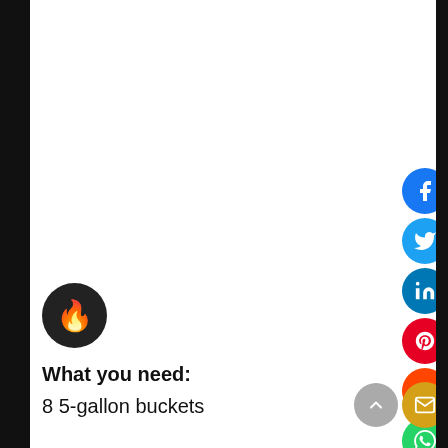[Figure (illustration): Dark circular avatar with a flame emoji icon]
What you need:
8 5-gallon buckets
[Figure (illustration): Vertical stack of social media share buttons: Facebook, Twitter, LinkedIn, Pinterest, Reddit, WhatsApp; plus scroll-up and email buttons at bottom]